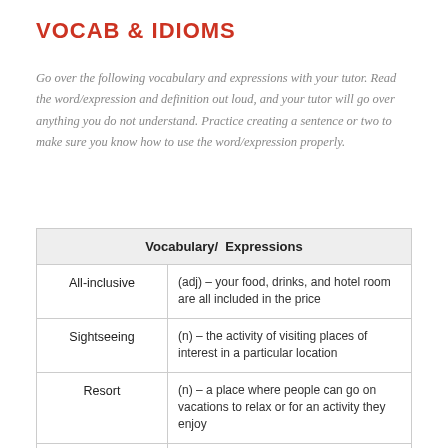VOCAB & IDIOMS
Go over the following vocabulary and expressions with your tutor. Read the word/expression and definition out loud, and your tutor will go over anything you do not understand. Practice creating a sentence or two to make sure you know how to use the word/expression properly.
| Vocabulary/ Expressions |
| --- |
| All-inclusive | (adj) – your food, drinks, and hotel room are all included in the price |
| Sightseeing | (n) – the activity of visiting places of interest in a particular location |
| Resort | (n) – a place where people can go on vacations to relax or for an activity they enjoy |
| Self-guided... | (n) – ... |